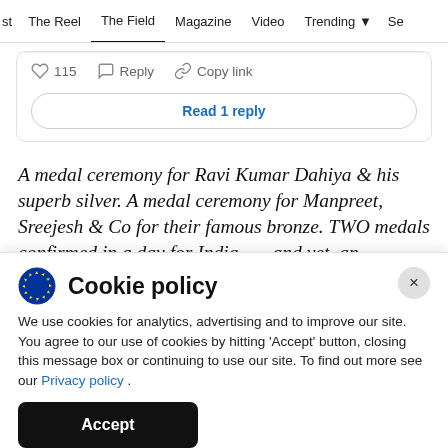st  The Reel  The Field  Magazine  Video  Trending  Se
115  Reply  Copy link
Read 1 reply
A medal ceremony for Ravi Kumar Dahiya & his superb silver. A medal ceremony for Manpreet, Sreejesh & Co for their famous bronze. TWO medals confirmed in a day for India... ...and yet, an
Cookie policy
We use cookies for analytics, advertising and to improve our site. You agree to our use of cookies by hitting 'Accept' button, closing this message box or continuing to use our site. To find out more see our Privacy policy .
Accept